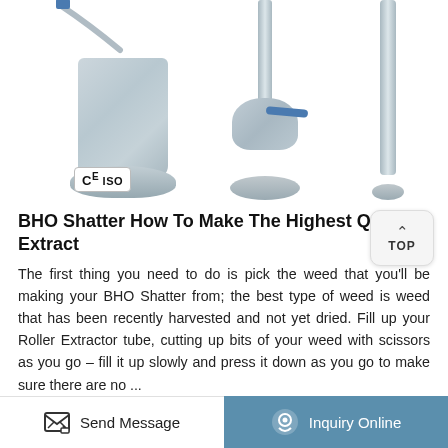[Figure (photo): Industrial stainless steel extraction equipment: a roller extractor tube assembly on the left with CE ISO certification badge, a central valve assembly, and a vertical tube on the right. All components appear to be professional-grade laboratory/industrial extraction hardware.]
BHO Shatter How To Make The Highest Quality Extract
The first thing you need to do is pick the weed that you'll be making your BHO Shatter from; the best type of weed is weed that has been recently harvested and not yet dried. Fill up your Roller Extractor tube, cutting up bits of your weed with scissors as you go – fill it up slowly and press it down as you go to make sure there are no ...
Send Message  |  Inquiry Online